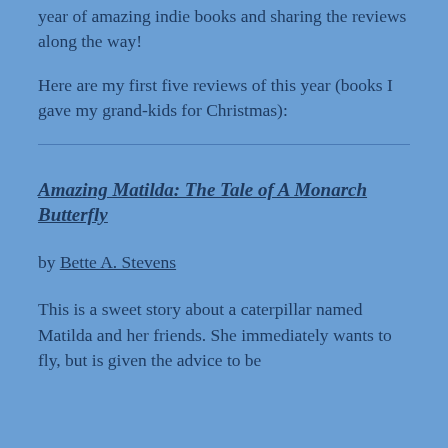year of amazing indie books and sharing the reviews along the way!
Here are my first five reviews of this year (books I gave my grand-kids for Christmas):
Amazing Matilda: The Tale of A Monarch Butterfly
by Bette A. Stevens
This is a sweet story about a caterpillar named Matilda and her friends. She immediately wants to fly, but is given the advice to be